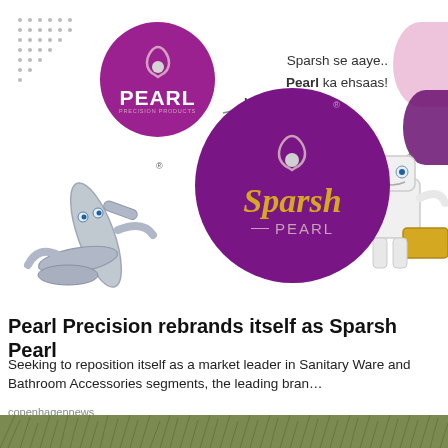[Figure (illustration): Advertisement image showing Pearl Precision rebranding to Sparsh Pearl. Contains the old Pearl Precision circular purple logo, an 'IS NOW' label with arrow, a larger Sparsh Pearl circular purple logo with gold text, a tagline 'Sparsh se aaye.. Pearl ka ehsaas!', a decorative dot grid, pink and purple blobs on right, a chrome faucet mascot on left, and a robot mascot on right.]
Pearl Precision rebrands itself as Sparsh Pearl
Seeking to reposition itself as a market leader in Sanitary Ware and Bathroom Accessories segments, the leading bran…
copenhagennews
[Figure (photo): Bottom strip showing a grass or vegetation scene, partially cropped.]